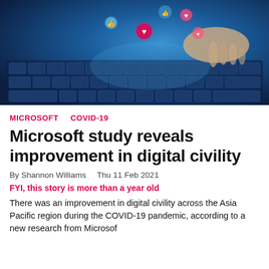[Figure (photo): A person's hand typing on a glowing blue laptop keyboard with social media reaction icons (hearts, thumbs up) floating above the keys.]
MICROSOFT   COVID-19
Microsoft study reveals improvement in digital civility
By Shannon Williams   Thu 11 Feb 2021
FYI, this story is more than a year old
There was an improvement in digital civility across the Asia Pacific region during the COVID-19 pandemic, according to a new research from Microsoft.